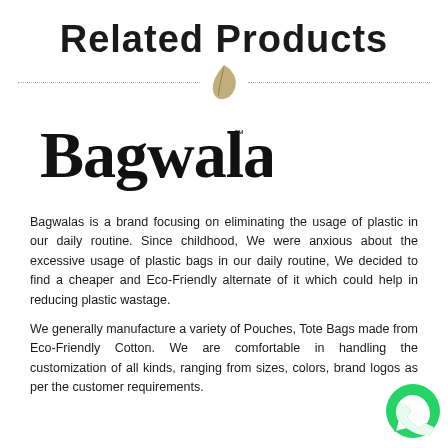Related Products
[Figure (illustration): Decorative divider with dotted lines on either side of a golden/tan leaf icon]
[Figure (logo): Bagwalas brand logo in cursive/script font with TM mark]
Bagwalas is a brand focusing on eliminating the usage of plastic in our daily routine. Since childhood, We were anxious about the excessive usage of plastic bags in our daily routine, We decided to find a cheaper and Eco-Friendly alternate of it which could help in reducing plastic wastage.
We generally manufacture a variety of Pouches, Tote Bags made from Eco-Friendly Cotton. We are comfortable in handling the customization of all kinds, ranging from sizes, colors, brand logos as per the customer requirements.
[Figure (illustration): WhatsApp green circular button icon in bottom right corner]